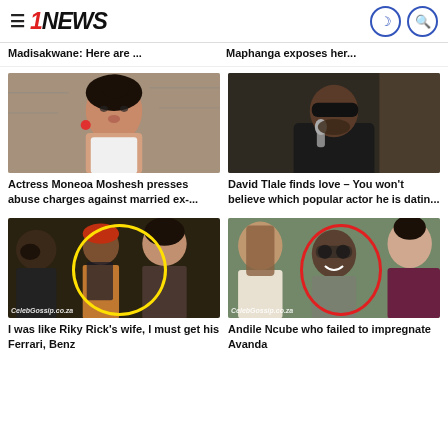≡ 1NEWS
Madisakwane: Here are ...
Maphanga exposes her...
[Figure (photo): Photo of actress Moneoa Moshesh, a young woman with hair up, wearing white, against a stone background]
Actress Moneoa Moshesh presses abuse charges against married ex-...
[Figure (photo): Photo of David Tlale, a man wearing sunglasses and a dark sweater, holding a microphone]
David Tlale finds love – You won't believe which popular actor he is datin...
[Figure (photo): CelebGossip.co.za collage with yellow oval highlight, showing Riky Rick with woman in the center and another woman on right]
I was like Riky Rick's wife, I must get his Ferrari, Benz
[Figure (photo): CelebGossip.co.za collage with red oval highlight, showing man with sunglasses flanked by two women]
Andile Ncube who failed to impregnate Avanda